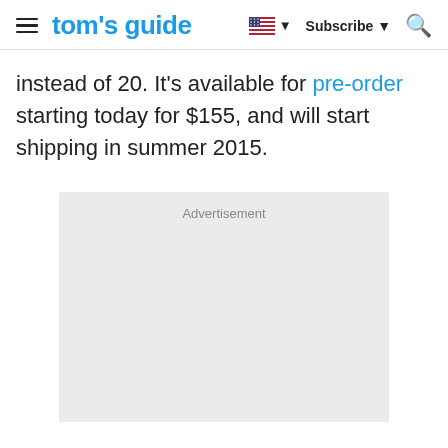tom's guide | Subscribe
instead of 20. It's available for pre-order starting today for $155, and will start shipping in summer 2015.
[Figure (other): Advertisement placeholder block with light gray background and 'Advertisement' label at the top]